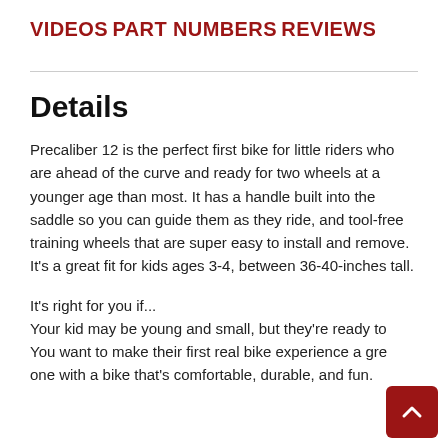VIDEOS
PART NUMBERS
REVIEWS
Details
Precaliber 12 is the perfect first bike for little riders who are ahead of the curve and ready for two wheels at a younger age than most. It has a handle built into the saddle so you can guide them as they ride, and tool-free training wheels that are super easy to install and remove. It's a great fit for kids ages 3-4, between 36-40-inches tall.
It's right for you if...
Your kid may be young and small, but they're ready to
You want to make their first real bike experience a great one with a bike that's comfortable, durable, and fun.